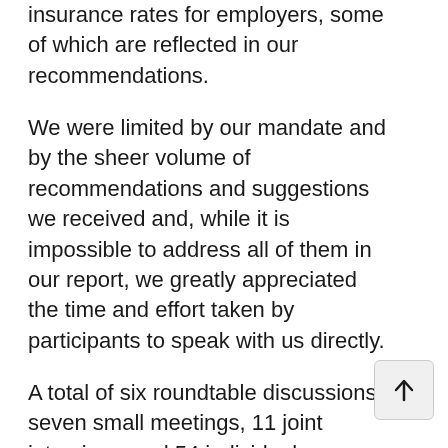insurance rates for employers, some of which are reflected in our recommendations.
We were limited by our mandate and by the sheer volume of recommendations and suggestions we received and, while it is impossible to address all of them in our report, we greatly appreciated the time and effort taken by participants to speak with us directly.
A total of six roundtable discussions, seven small meetings, 11 joint interviews and 54 individual interviews were conducted. Overall, the committee spoke with 164 people. All discussions were chaired by a member of the committee. Most sessions